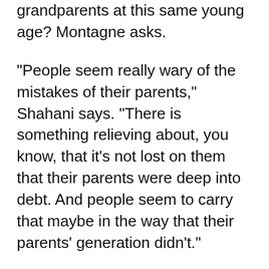grandparents at this same young age? Montagne asks.
"People seem really wary of the mistakes of their parents," Shahani says. "There is something relieving about, you know, that it's not lost on them that their parents were deep into debt. And people seem to carry that maybe in the way that their parents' generation didn't."
And if their parents talked to them about money, they are likely way ahead of the game, according to Hogan.
"Well, I would venture to say oftentimes with younger kids, if their mom and dad never talked about money in front of them or never taught them